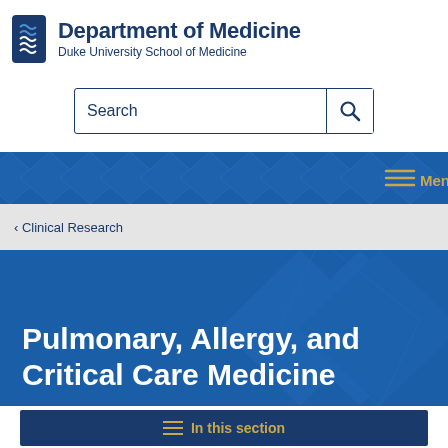Department of Medicine
Duke University School of Medicine
[Figure (screenshot): Search bar with magnifying glass icon, blue border]
[Figure (infographic): Dark blue navigation bar with geometric diamond pattern and gold hamburger menu icon labeled Menu]
‹ Clinical Research
Pulmonary, Allergy, and Critical Care Medicine
[Figure (infographic): Dark blue bar with gold hamburger icon and text In this section]